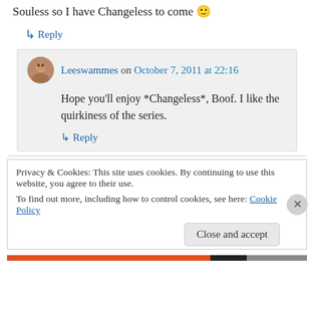Souless so I have Changeless to come 🙂
↳ Reply
Leeswammes on October 7, 2011 at 22:16
Hope you'll enjoy *Changeless*, Boof. I like the quirkiness of the series.
↳ Reply
Privacy & Cookies: This site uses cookies. By continuing to use this website, you agree to their use.
To find out more, including how to control cookies, see here: Cookie Policy
Close and accept